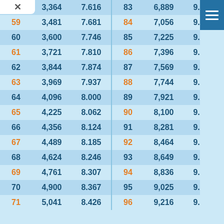| n | n² | √n |  | n | n² | √n |
| --- | --- | --- | --- | --- | --- | --- |
|  | 3,364 | 7.616 |  | 83 | 6,889 | 9.110 |
| 59 | 3,481 | 7.681 |  | 84 | 7,056 | 9.165 |
| 60 | 3,600 | 7.746 |  | 85 | 7,225 | 9.220 |
| 61 | 3,721 | 7.810 |  | 86 | 7,396 | 9.274 |
| 62 | 3,844 | 7.874 |  | 87 | 7,569 | 9.327 |
| 63 | 3,969 | 7.937 |  | 88 | 7,744 | 9.381 |
| 64 | 4,096 | 8.000 |  | 89 | 7,921 | 9.434 |
| 65 | 4,225 | 8.062 |  | 90 | 8,100 | 9.487 |
| 66 | 4,356 | 8.124 |  | 91 | 8,281 | 9.539 |
| 67 | 4,489 | 8.185 |  | 92 | 8,464 | 9.592 |
| 68 | 4,624 | 8.246 |  | 93 | 8,649 | 9.644 |
| 69 | 4,761 | 8.307 |  | 94 | 8,836 | 9.695 |
| 70 | 4,900 | 8.367 |  | 95 | 9,025 | 9.747 |
| 71 | 5,041 | 8.426 |  | 96 | 9,216 | 9.798 |